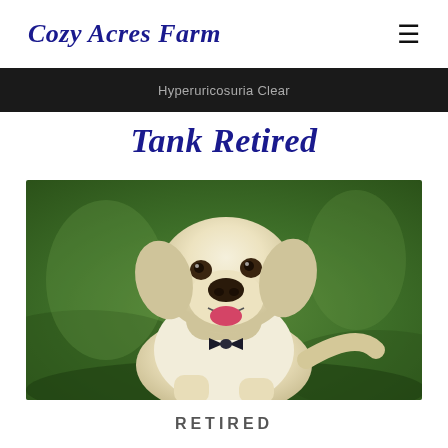Cozy Acres Farm
Hyperuricosuria Clear
Tank Retired
[Figure (photo): A yellow Labrador Retriever sitting outdoors on a green grass background, looking to the side with mouth open, wearing a dark bowtie collar.]
RETIRED